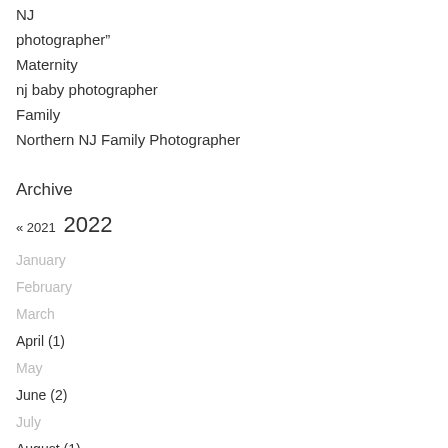NJ
photographer"
Maternity
nj baby photographer
Family
Northern NJ Family Photographer
Archive
« 2021  2022
January
February
March
April (1)
May
June (2)
July
August (1)